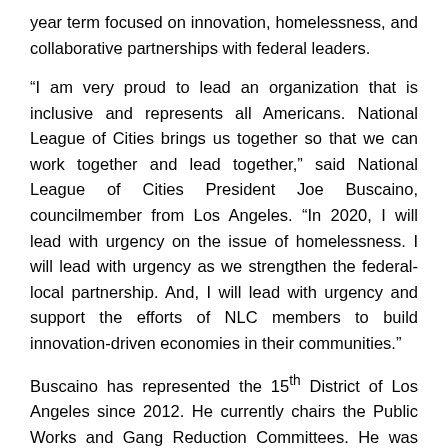year term focused on innovation, homelessness, and collaborative partnerships with federal leaders.
“I am very proud to lead an organization that is inclusive and represents all Americans. National League of Cities brings us together so that we can work together and lead together,” said National League of Cities President Joe Buscaino, councilmember from Los Angeles. “In 2020, I will lead with urgency on the issue of homelessness. I will lead with urgency as we strengthen the federal-local partnership. And, I will lead with urgency and support the efforts of NLC members to build innovation-driven economies in their communities.”
Buscaino has represented the 15th District of Los Angeles since 2012. He currently chairs the Public Works and Gang Reduction Committees. He was also appointed chair of the newly formed Trade, Travel and Tourism Committee. Prior to his election to the Los Angeles City Council, Buscaino served 15 years as a police officer with the Los Angeles Police Department. During his time as an officer, he created the LAPD’s first Teen Community Police Advisory Board, an